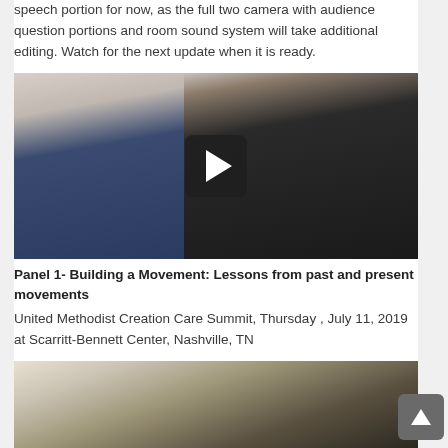speech portion for now, as the full two camera with audience question portions and room sound system will take additional editing. Watch for the next update when it is ready.
[Figure (photo): Video thumbnail showing two men seated, one older white-haired man on the left smiling and holding a microphone, one Black man on the right in a dark suit. A YouTube-style play button overlay is centered on the image.]
Panel 1- Building a Movement: Lessons from past and present movements
United Methodist Creation Care Summit, Thursday , July 11, 2019 at Scarritt-Bennett Center, Nashville, TN
[Figure (photo): Partial video thumbnail showing a person with their hand raised, indoor setting with windows visible in background.]